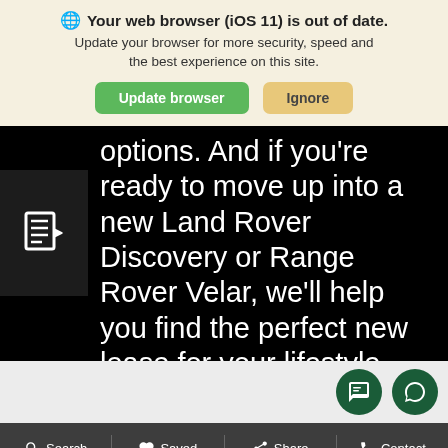🌐 Your web browser (iOS 11) is out of date. Update your browser for more security, speed and the best experience on this site.
Update browser | Ignore
options. And if you're ready to move up into a new Land Rover Discovery or Range Rover Velar, we'll help you find the perfect new lease for your lifestyle and preferences.
[Figure (screenshot): Mobile web bottom navigation bar with Search, Saved, Share, Contact options]
Search  Saved  Share  Contact